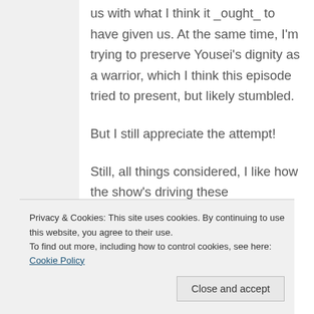us with what I think it _ought_ to have given us. At the same time, I'm trying to preserve Yousei's dignity as a warrior, which I think this episode tried to present, but likely stumbled.
But I still appreciate the attempt!
Still, all things considered, I like how the show's driving these conversations. It's something that Grancrest Senki, as much
Privacy & Cookies: This site uses cookies. By continuing to use this website, you agree to their use.
To find out more, including how to control cookies, see here: Cookie Policy